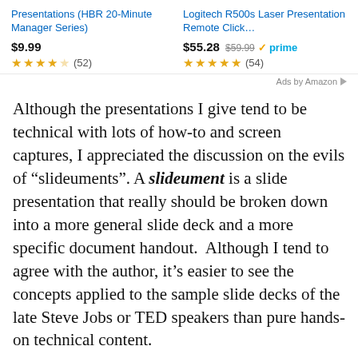[Figure (screenshot): Amazon advertisement bar showing two products: 'Presentations (HBR 20-Minute Manager Series)' priced at $9.99 with 3.5 stars (52 reviews), and 'Logitech R500s Laser Presentation Remote Click…' priced at $55.28 (was $59.99) with Prime badge and 4.5 stars (54 reviews). 'Ads by Amazon' label with arrow at bottom right.]
Although the presentations I give tend to be technical with lots of how-to and screen captures, I appreciated the discussion on the evils of “slideuments”. A slideument is a slide presentation that really should be broken down into a more general slide deck and a more specific document handout.  Although I tend to agree with the author, it’s easier to see the concepts applied to the sample slide decks of the late Steve Jobs or TED speakers than pure hands-on technical content.